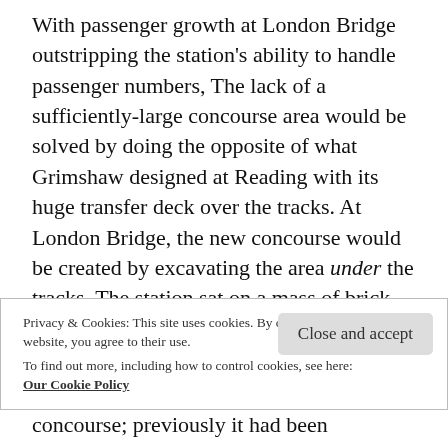With passenger growth at London Bridge outstripping the station's ability to handle passenger numbers, The lack of a sufficiently-large concourse area would be solved by doing the opposite of what Grimshaw designed at Reading with its huge transfer deck over the tracks. At London Bridge, the new concourse would be created by excavating the area under the tracks. The station sat on a mass of brick arches, at the western end of one of the longest viaducts (or series of viaducts as some of the purists will tell you) in the country, largely unrecognised because although very long, the
Privacy & Cookies: This site uses cookies. By continuing to use this website, you agree to their use.
To find out more, including how to control cookies, see here: Our Cookie Policy
concourse; previously it had been surprisingly